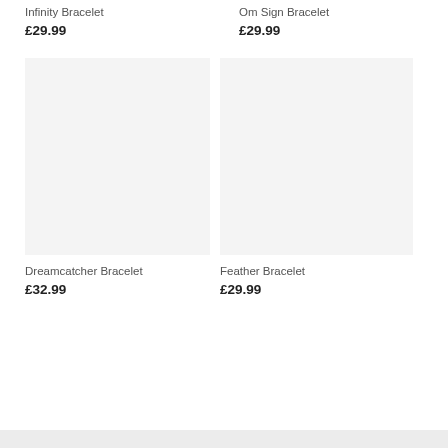Infinity Bracelet
£29.99
Om Sign Bracelet
£29.99
[Figure (photo): Placeholder image for Dreamcatcher Bracelet product]
[Figure (photo): Placeholder image for Feather Bracelet product]
Dreamcatcher Bracelet
£32.99
Feather Bracelet
£29.99